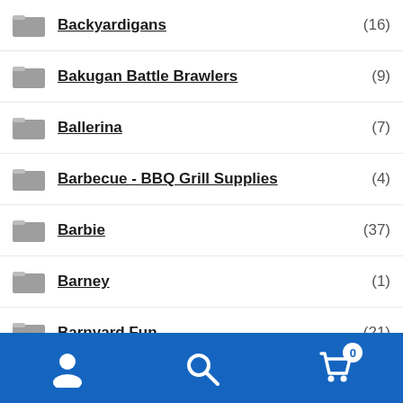Backyardigans (16)
Bakugan Battle Brawlers (9)
Ballerina (7)
Barbecue - BBQ Grill Supplies (4)
Barbie (37)
Barney (1)
Barnyard Fun (21)
Ben 10 (8)
Big Hero 6 (1)
Blaze and the Monster Machines (1)
Bolt (1)
Bratz (2)